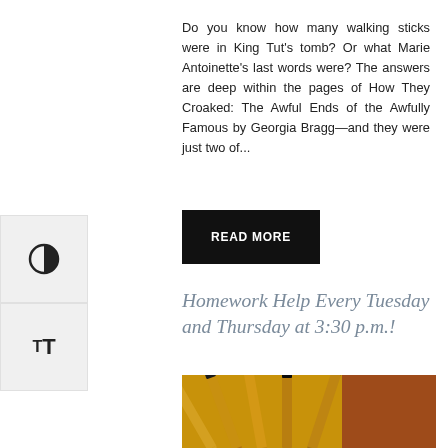Do you know how many walking sticks were in King Tut's tomb? Or what Marie Antoinette's last words were? The answers are deep within the pages of How They Croaked: The Awful Ends of the Awfully Famous by Georgia Bragg—and they were just two of...
READ MORE
Homework Help Every Tuesday and Thursday at 3:30 p.m.!
[Figure (photo): Photograph of sharpened pencils against an orange/yellow background, split with an orange-brown rectangle on the right side.]